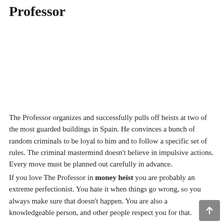Professor
The Professor organizes and successfully pulls off heists at two of the most guarded buildings in Spain. He convinces a bunch of random criminals to be loyal to him and to follow a specific set of rules. The criminal mastermind doesn't believe in impulsive actions. Every move must be planned out carefully in advance.
If you love The Professor in money heist you are probably an extreme perfectionist. You hate it when things go wrong, so you always make sure that doesn't happen. You are also a knowledgeable person, and other people respect you for that.